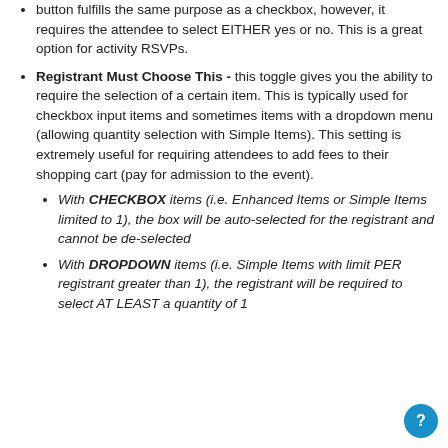button fulfills the same purpose as a checkbox, however, it requires the attendee to select EITHER yes or no. This is a great option for activity RSVPs.
Registrant Must Choose This - this toggle gives you the ability to require the selection of a certain item. This is typically used for checkbox input items and sometimes items with a dropdown menu (allowing quantity selection with Simple Items). This setting is extremely useful for requiring attendees to add fees to their shopping cart (pay for admission to the event).
With CHECKBOX items (i.e. Enhanced Items or Simple Items limited to 1), the box will be auto-selected for the registrant and cannot be de-selected
With DROPDOWN items (i.e. Simple Items with limit PER registrant greater than 1), the registrant will be required to select AT LEAST a quantity of 1